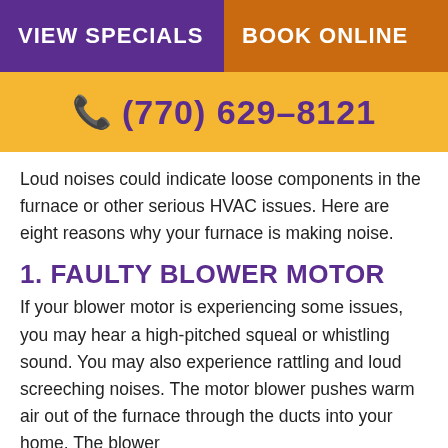VIEW SPECIALS | BOOK ONLINE
(770) 629-8121
Loud noises could indicate loose components in the furnace or other serious HVAC issues. Here are eight reasons why your furnace is making noise.
1. FAULTY BLOWER MOTOR
If your blower motor is experiencing some issues, you may hear a high-pitched squeal or whistling sound. You may also experience rattling and loud screeching noises. The motor blower pushes warm air out of the furnace through the ducts into your home. The blower